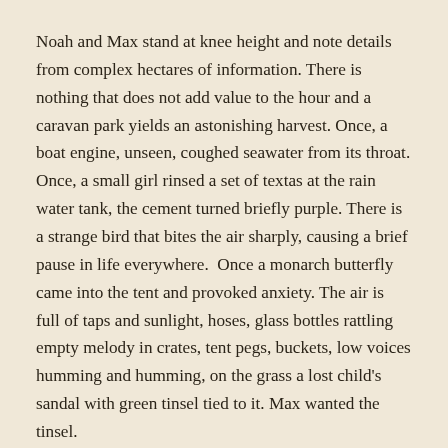Noah and Max stand at knee height and note details from complex hectares of information. There is nothing that does not add value to the hour and a caravan park yields an astonishing harvest. Once, a boat engine, unseen, coughed seawater from its throat. Once, a small girl rinsed a set of textas at the rain water tank, the cement turned briefly purple. There is a strange bird that bites the air sharply, causing a brief pause in life everywhere.  Once a monarch butterfly came into the tent and provoked anxiety. The air is full of taps and sunlight, hoses, glass bottles rattling empty melody in crates, tent pegs, buckets, low voices humming and humming, on the grass a lost child's sandal with green tinsel tied to it. Max wanted the tinsel.
Each infant begins on a startled intake of breath, a raised hand pointing to eternity and an eye contact with anyone to ensure collaboration. It is possible sometimes to pull out a word. Once, a baby cried somewhere and Max said: cup. When their own